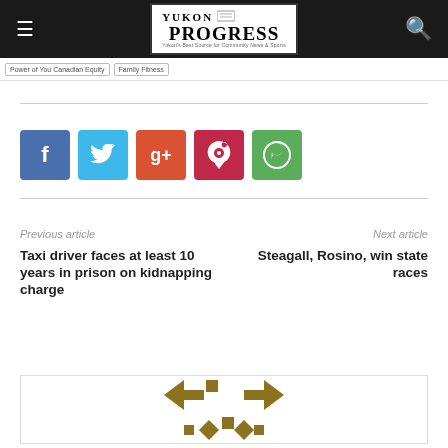Yukon Progress
Power of You Canadian Equity / Family Fitness
[Figure (infographic): Social media share buttons: Facebook (blue), Twitter (light blue), Google+ (red-orange), Pinterest (red), WhatsApp (green)]
Previous article
Taxi driver faces at least 10 years in prison on kidnapping charge
Next article
Steagall, Rosino, win state races
[Figure (logo): Yukon Progress decorative geometric logo mark in gold/dark yellow color]